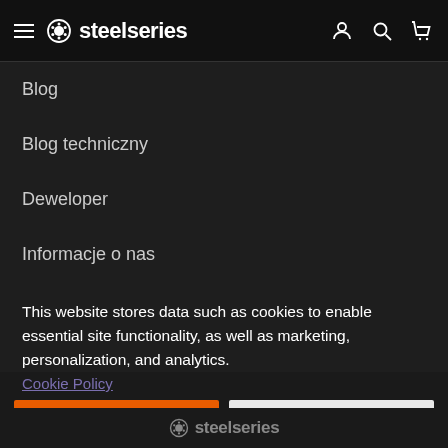SteelSeries
Blog
Blog techniczny
Deweloper
Informacje o nas
This website stores data such as cookies to enable essential site functionality, as well as marketing, personalization, and analytics.
Cookie Policy
Accept
Deny
steelseries